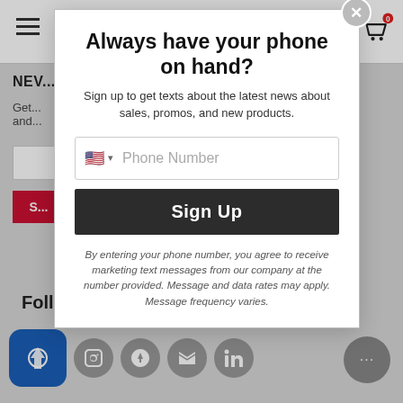[Figure (screenshot): Background webpage showing header with hamburger menu and cart icon, partial newsletter signup section, Follow Us section with social media icons including Facebook, Instagram, Pinterest, YouTube, LinkedIn, and a chat bubble button.]
Always have your phone on hand?
Sign up to get texts about the latest news about sales, promos, and new products.
Phone Number
Sign Up
By entering your phone number, you agree to receive marketing text messages from our company at the number provided. Message and data rates may apply. Message frequency varies.
Follow Us